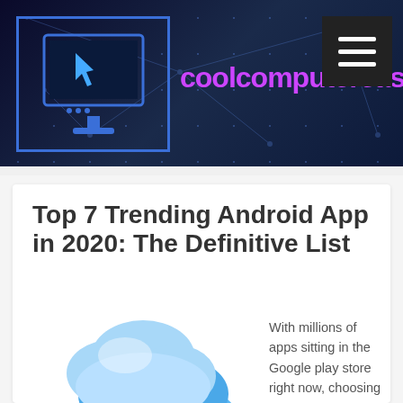coolcomputercases
Top 7 Trending Android App in 2020: The Definitive List
[Figure (illustration): Colorful 3D illustration of blue cloud shapes floating above a cluster of colorful app icons including RSS, info, settings, font, globe, search, lock, mail, and music icons]
With millions of apps sitting in the Google play store right now, choosing the best option can